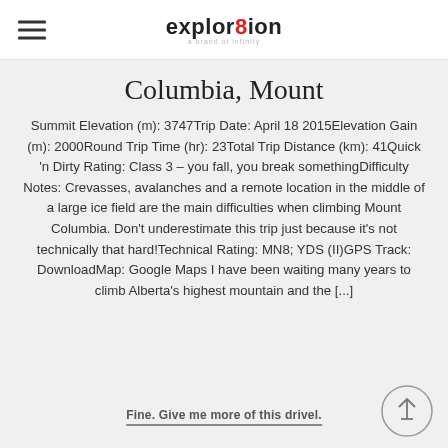explor8ion
Columbia, Mount
Summit Elevation (m): 3747Trip Date: April 18 2015Elevation Gain (m): 2000Round Trip Time (hr): 23Total Trip Distance (km): 41Quick 'n Dirty Rating: Class 3 – you fall, you break somethingDifficulty Notes: Crevasses, avalanches and a remote location in the middle of a large ice field are the main difficulties when climbing Mount Columbia. Don't underestimate this trip just because it's not technically that hard!Technical Rating: MN8; YDS (II)GPS Track: DownloadMap: Google Maps I have been waiting many years to climb Alberta's highest mountain and the [...]
Fine. Give me more of this drivel.